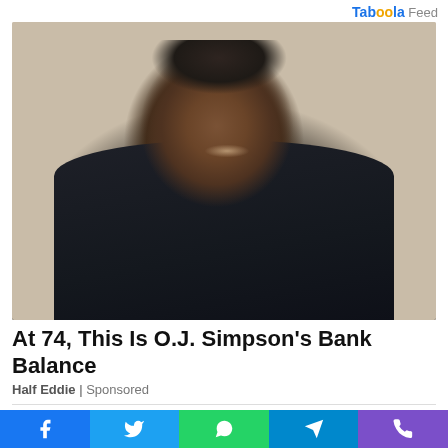Taboola Feed
[Figure (photo): Middle-aged man smiling, wearing a dark blue shirt, against a light beige background]
At 74, This Is O.J. Simpson's Bank Balance
Half Eddie | Sponsored
[Figure (photo): Partial view of another article image with a blue scroll-to-top button on the right]
[Figure (other): Social share bar with Facebook, Twitter, WhatsApp, Telegram, and Phone buttons]